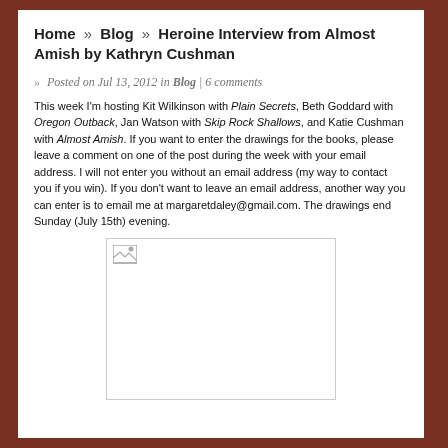Home » Blog » Heroine Interview from Almost Amish by Kathryn Cushman
» Posted on Jul 13, 2012 in Blog | 6 comments
This week I'm hosting Kit Wilkinson with Plain Secrets, Beth Goddard with Oregon Outback, Jan Watson with Skip Rock Shallows, and Katie Cushman with Almost Amish. If you want to enter the drawings for the books, please leave a comment on one of the post during the week with your email address. I will not enter you without an email address (my way to contact you if you win). If you don't want to leave an email address, another way you can enter is to email me at margaretdaley@gmail.com. The drawings end Sunday (July 15th) evening.
[Figure (photo): Broken image placeholder with small image icon in top-left corner]